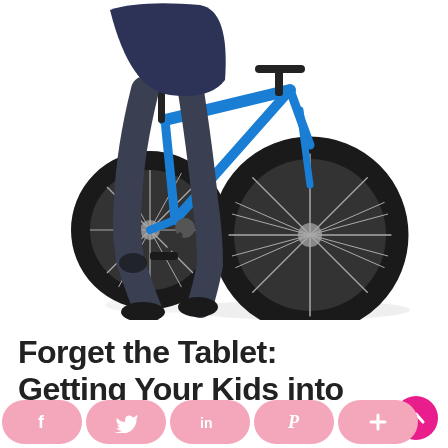[Figure (photo): A child riding a blue BMX-style bicycle, photographed from the waist down against a white background. The child wears dark jeans and black shoes. The blue bike has knobby tires and is prominently featured with the front wheel in the foreground.]
Forget the Tablet: Getting Your Kids into
[Figure (infographic): Social media sharing bar with pink pill-shaped buttons for Facebook (f), Twitter (bird), LinkedIn (in), Pinterest (P), and More (+), plus a pink circular scroll-up arrow button at the top right.]